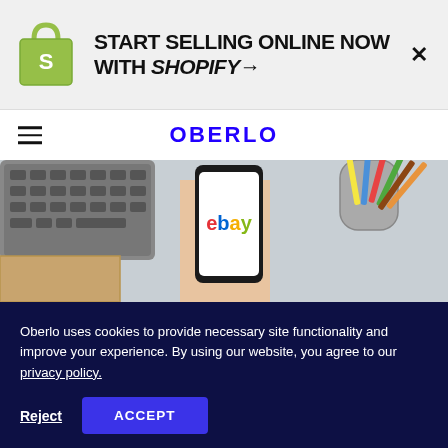[Figure (logo): Shopify ad banner with green shopping bag logo, text 'START SELLING ONLINE NOW WITH SHOPIFY →' and close X button]
OBERLO
[Figure (photo): Person holding a smartphone displaying the eBay app logo, with a keyboard and a cup of colored pencils on a desk in the background]
Oberlo uses cookies to provide necessary site functionality and improve your experience. By using our website, you agree to our privacy policy.
Reject   ACCEPT